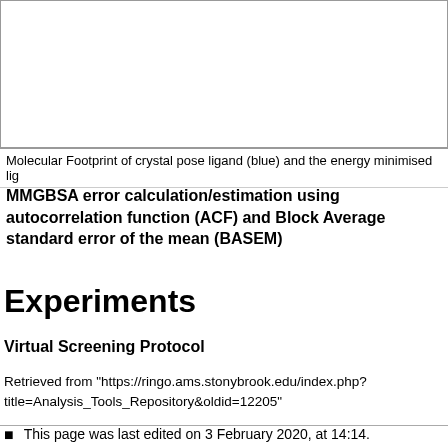[Figure (other): Molecular footprint chart showing rotated amino acid residue labels (ASP1G, ASP1G, ARG11, ARG11, GLU11, ASP12, LYS13, GLU14, ARG14, ARG14, ASP15, GLU16, ARG16, GLU16, ASP17, LYS18, ASP18, GLU18, ARG18, ASP18, GLU18, LYS16, LYS7...) along the x-axis, partially shown]
Molecular Footprint of crystal pose ligand (blue) and the energy minimised lig...
MMGBSA error calculation/estimation using autocorrelation function (ACF) and Block Average standard error of the mean (BASEM)
Experiments
Virtual Screening Protocol
Retrieved from "https://ringo.ams.stonybrook.edu/index.php?title=Analysis_Tools_Repository&oldid=12205"
This page was last edited on 3 February 2020, at 14:14.